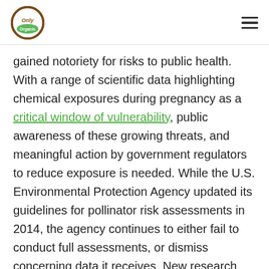Only Organic [logo] [hamburger menu]
gained notoriety for risks to public health. With a range of scientific data highlighting chemical exposures during pregnancy as a critical window of vulnerability, public awareness of these growing threats, and meaningful action by government regulators to reduce exposure is needed. While the U.S. Environmental Protection Agency updated its guidelines for pollinator risk assessments in 2014, the agency continues to either fail to conduct full assessments, or dismiss concerning data it receives. New research published by the Soil Health Institute provides fresh insights into the vital role that soil organic carbon levels can play in preventing drought, reducing flooding and improving the health and